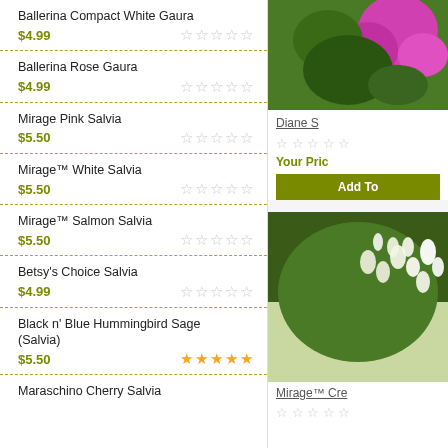Ballerina Compact White Gaura $4.99
Ballerina Rose Gaura $4.99
Mirage Pink Salvia $5.50
Mirage™ White Salvia $5.50
Mirage™ Salmon Salvia $5.50
Betsy's Choice Salvia $4.99
Black n' Blue Hummingbird Sage (Salvia) $5.50
Maraschino Cherry Salvia
[Figure (photo): Close-up photo of pink/magenta flower with green leaves]
Diane S
Your Pric
[Figure (photo): Photo of white small flowers with green foliage]
Mirage™ Cre